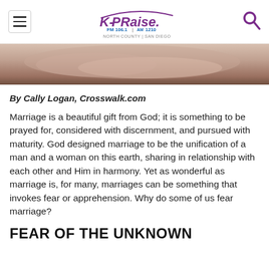K-PRAISE FM 106.1 AM 1210 NORTH COUNTY | SAN DIEGO
[Figure (photo): Close-up photo of hands, likely clasped together, soft focus with warm tones]
By Cally Logan, Crosswalk.com
Marriage is a beautiful gift from God; it is something to be prayed for, considered with discernment, and pursued with maturity. God designed marriage to be the unification of a man and a woman on this earth, sharing in relationship with each other and Him in harmony. Yet as wonderful as marriage is, for many, marriages can be something that invokes fear or apprehension. Why do some of us fear marriage?
FEAR OF THE UNKNOWN